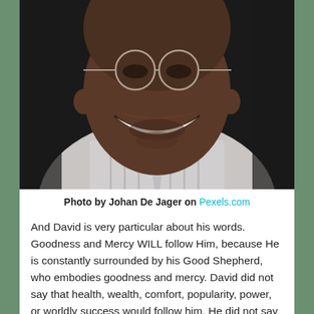[Figure (photo): Close-up portrait photo of a smiling Black man wearing glasses, a striped dress shirt, and a tie. The photo is cropped from the chest up, showing a broad smile with white teeth. Dark background.]
Photo by Johan De Jager on Pexels.com
And David is very particular about his words. Goodness and Mercy WILL follow Him, because He is constantly surrounded by his Good Shepherd, who embodies goodness and mercy. David did not say that health, wealth, comfort, popularity, power, or worldly success would follow him. He did not say that